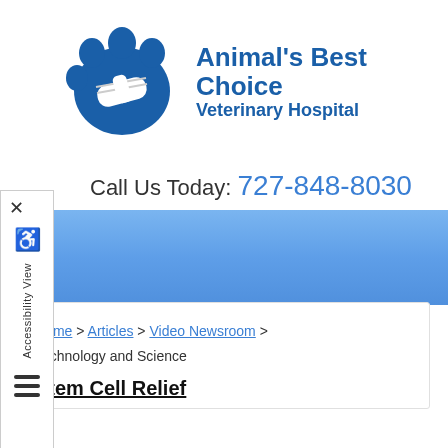[Figure (logo): Animal's Best Choice Veterinary Hospital logo with blue paw print containing a bandage]
Call Us Today: 727-848-8030
Home > Articles > Video Newsroom > Technology and Science
Stem Cell Relief